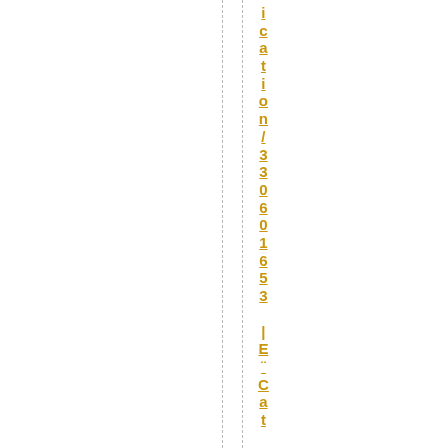ication/330601653 | E ¨ C at | SK | and